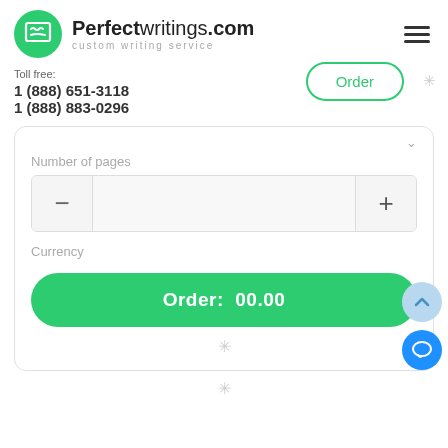[Figure (logo): Perfectwritings.com logo with green circle icon and text 'Perfectwritings.com custom writing service']
Toll free:
1 (888) 651-3118
1 (888) 883-0296
Order
Number of pages
Currency
Order:  00.00